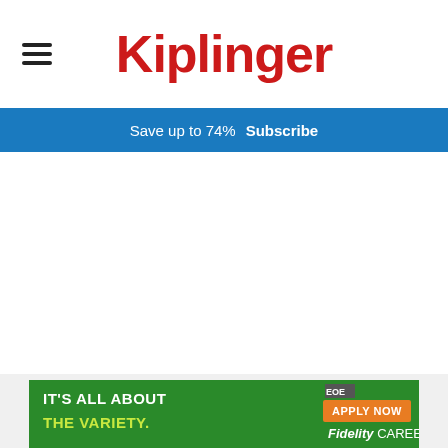Kiplinger
Save up to 74%  Subscribe
Sign Up for Kiplinger's Free E-Newsletters
[Figure (other): Advertisement banner: green background with text 'IT'S ALL ABOUT THE VARIETY.' in white and yellow-green, an orange 'APPLY NOW' button, 'EOE' badge, and 'Fidelity CAREERS' branding in white on the right side.]